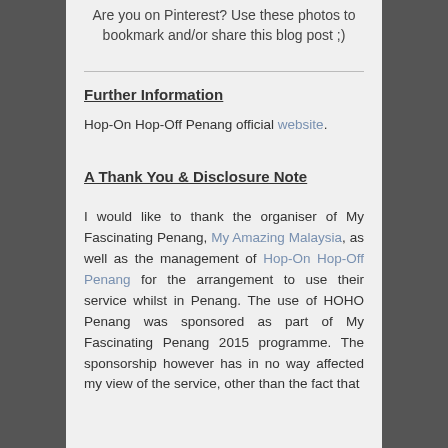Are you on Pinterest? Use these photos to bookmark and/or share this blog post ;)
Further Information
Hop-On Hop-Off Penang official website.
A Thank You & Disclosure Note
I would like to thank the organiser of My Fascinating Penang, My Amazing Malaysia, as well as the management of Hop-On Hop-Off Penang for the arrangement to use their service whilst in Penang. The use of HOHO Penang was sponsored as part of My Fascinating Penang 2015 programme. The sponsorship however has in no way affected my view of the service, other than the fact that